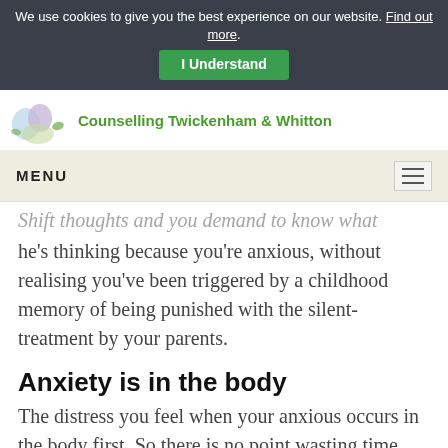We use cookies to give you the best experience on our website. Find out more.
I Understand
[Figure (logo): Counselling Twickenham & Whitton logo with illustrated characters]
Counselling Twickenham & Whitton
MENU
…[S]hift thoughts and you demand to know what he's thinking because you're anxious, without realising you've been triggered by a childhood memory of being punished with the silent-treatment by your parents.
Anxiety is in the body
The distress you feel when your anxious occurs in the body first. So there is no point wasting time thinking, or rationalising away your anxiety. You need to distinguish between the real